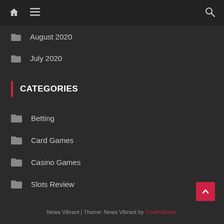Navigation bar with home, menu, and search icons
August 2020
July 2020
CATEGORIES
Betting
Card Games
Casino Games
Slots Review
News Vibrant | Theme: News Vibrant by CodeVibrant.